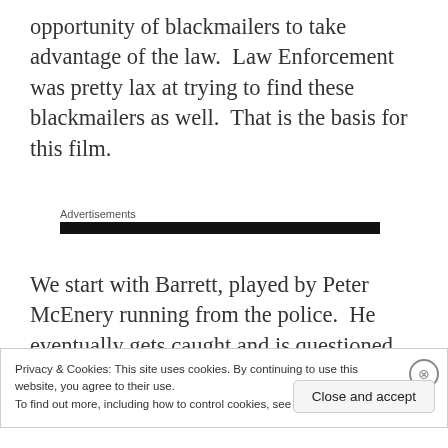opportunity of blackmailers to take advantage of the law.  Law Enforcement was pretty lax at trying to find these blackmailers as well.  That is the basis for this film.
Advertisements
We start with Barrett, played by Peter McEnery running from the police.  He eventually gets caught and is questioned why he has stolen
Privacy & Cookies: This site uses cookies. By continuing to use this website, you agree to their use.
To find out more, including how to control cookies, see here: Cookie Policy